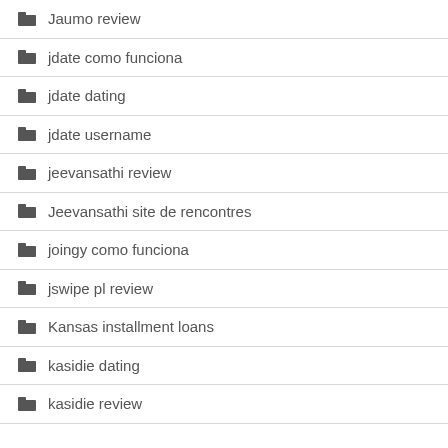Jaumo review
jdate como funciona
jdate dating
jdate username
jeevansathi review
Jeevansathi site de rencontres
joingy como funciona
jswipe pl review
Kansas installment loans
kasidie dating
kasidie review